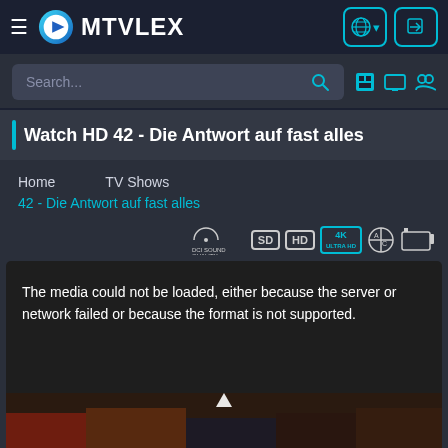MTVLEX
Search...
Watch HD 42 - Die Antwort auf fast alles
Home   TV Shows
42 - Die Antwort auf fast alles
[Figure (screenshot): Quality/format badges: Dolby sound quality, SD, HD, 4K, accessibility, screen mirroring icons]
The media could not be loaded, either because the server or network failed or because the format is not supported.